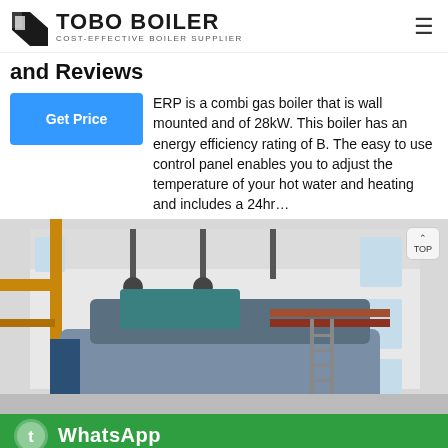TOBO BOILER — COST-EFFECTIVE BOILER SUPPLIER
and Reviews
ERP is a combi gas boiler that is wall mounted and of 28kW. This boiler has an energy efficiency rating of B. The easy to use control panel enables you to adjust the temperature of your hot water and heating and includes a 24hr…
[Figure (photo): Interior of a boiler facility showing industrial boiler equipment with pipes, a large cylindrical tank, yellow structural supports, and a ladder against the wall in a white-walled industrial space.]
[Figure (infographic): WhatsApp contact bar with green background and WhatsApp icon and text.]
Send Message | Inquiry Online